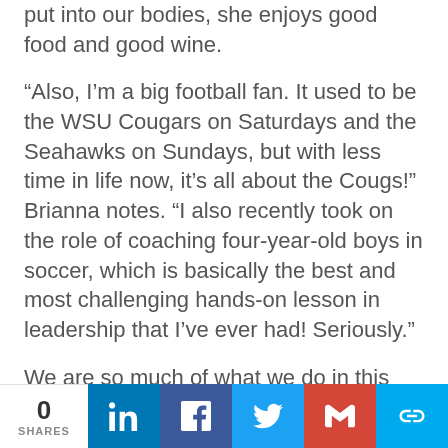put into our bodies, she enjoys good food and good wine.
“Also, I’m a big football fan. It used to be the WSU Cougars on Saturdays and the Seahawks on Sundays, but with less time in life now, it’s all about the Cougs!” Brianna notes. “I also recently took on the role of coaching four-year-old boys in soccer, which is basically the best and most challenging hands-on lesson in leadership that I’ve ever had! Seriously.”
We are so much of what we do in this industry, and for most of us, that is a
0 SHARES